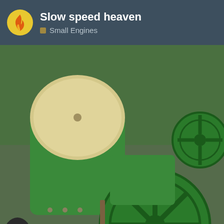Slow speed heaven — Small Engines
[Figure (photo): Vintage green small engine with flywheel, flat-head single cylinder, viewed from above on a workbench]
created  last reply  7 replies
Oct '13   Oct '13
1 / 8